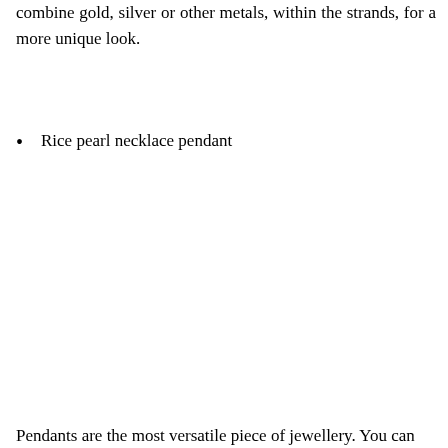combine gold, silver or other metals, within the strands, for a more unique look.
Rice pearl necklace pendant
Pendants are the most versatile piece of jewellery. You can